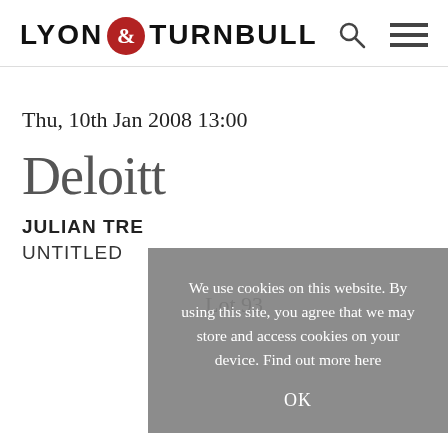LYON & TURNBULL
Thu, 10th Jan 2008 13:00
Deloitt
JULIAN TRE
UNTITLED
Lot 93
We use cookies on this website. By using this site, you agree that we may store and access cookies on your device. Find out more here
OK